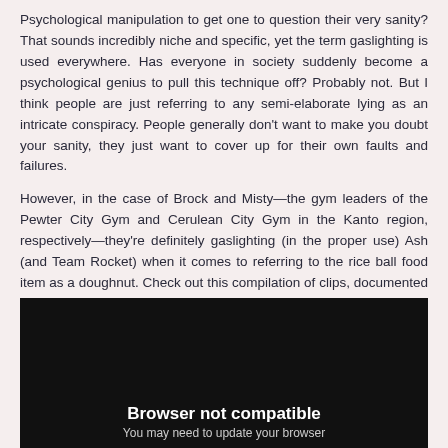Psychological manipulation to get one to question their very sanity? That sounds incredibly niche and specific, yet the term gaslighting is used everywhere. Has everyone in society suddenly become a psychological genius to pull this technique off? Probably not. But I think people are just referring to any semi-elaborate lying as an intricate conspiracy. People generally don't want to make you doubt your sanity, they just want to cover up for their own faults and failures.

However, in the case of Brock and Misty—the gym leaders of the Pewter City Gym and Cerulean City Gym in the Kanto region, respectively—they're definitely gaslighting (in the proper use) Ash (and Team Rocket) when it comes to referring to the rice ball food item as a doughnut. Check out this compilation of clips, documented from the episode Primeape Goes Bananas, as we discuss what gaslighting looks like in action:
[Figure (other): Embedded video player with dark background showing 'Browser not compatible' message and 'You may need to update your browser' subtitle]